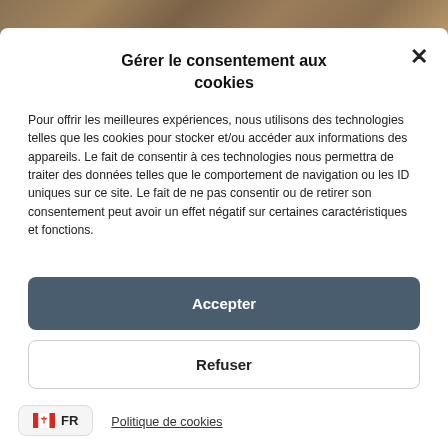[Figure (photo): Background photo of wood/nature texture visible at top of page behind modal dialog]
Gérer le consentement aux cookies
Pour offrir les meilleures expériences, nous utilisons des technologies telles que les cookies pour stocker et/ou accéder aux informations des appareils. Le fait de consentir à ces technologies nous permettra de traiter des données telles que le comportement de navigation ou les ID uniques sur ce site. Le fait de ne pas consentir ou de retirer son consentement peut avoir un effet négatif sur certaines caractéristiques et fonctions.
Accepter
Refuser
Voir les préférences
FR
Politique de cookies